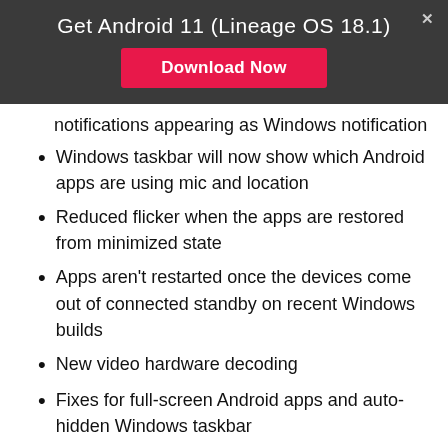Get Android 11 (Lineage OS 18.1)
Download Now
notifications appearing as Windows notification
Windows taskbar will now show which Android apps are using mic and location
Reduced flicker when the apps are restored from minimized state
Apps aren't restarted once the devices come out of connected standby on recent Windows builds
New video hardware decoding
Fixes for full-screen Android apps and auto-hidden Windows taskbar
Comes with the fix for the on-screen keyboard in apps
Improved performance, general stability, and reliability